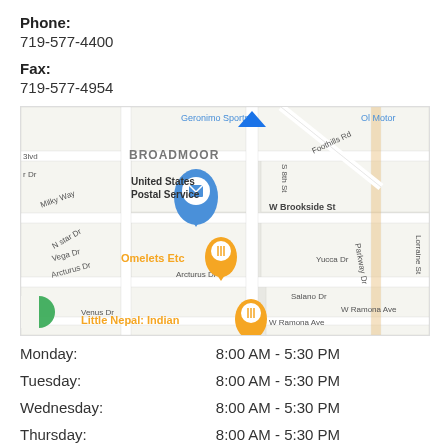Phone: 719-577-4400
Fax: 719-577-4954
[Figure (map): Google Maps view showing United States Postal Service location in the Broadmoor area of Colorado Springs. Nearby landmarks include Omelets Etc, Little Nepal: Indian restaurant, and streets including S 8th St, W Brookside St, Foothills Rd, Lorraine St, Parkway Dr, Arcturus Dr, W Ramona Ave, Salano Dr, Yucca Dr.]
| Day | Hours |
| --- | --- |
| Monday: | 8:00 AM - 5:30 PM |
| Tuesday: | 8:00 AM - 5:30 PM |
| Wednesday: | 8:00 AM - 5:30 PM |
| Thursday: | 8:00 AM - 5:30 PM |
| Friday: | 8:00 AM - 5:30 PM |
| Saturday: | Closed |